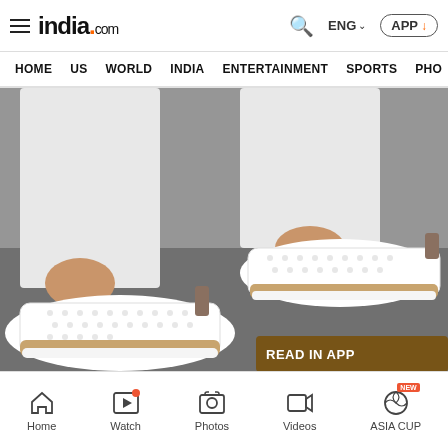india.com — ENG — APP
HOME | US | WORLD | INDIA | ENTERTAINMENT | SPORTS | PHO
[Figure (photo): Close-up photo of a person wearing white perforated sneakers with tan/gold espadrille-style soles and white cropped jeans, on a grey pavement background. A brown 'READ IN APP' button overlay appears in the bottom right.]
The Sneakers for Standing All Day Without...
Home | Watch | Photos | Videos | ASIA CUP